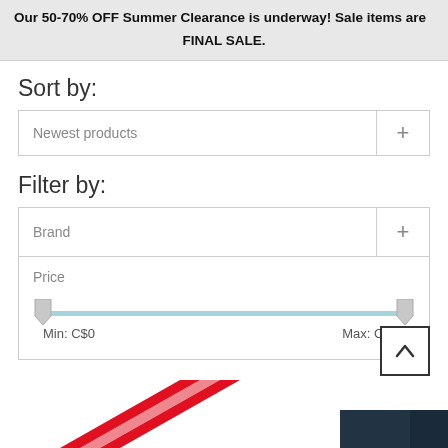Our 50-70% OFF Summer Clearance is underway! Sale items are FINAL SALE.
Sort by:
Newest products
Filter by:
Brand
Price
Min: C$0
Max: C$65